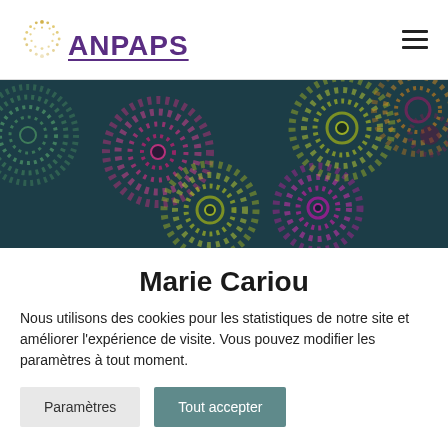ANPAPS
[Figure (illustration): ANPAPS website header banner with colorful spiral/dotted circle patterns on a dark teal background]
Marie Cariou
Nous utilisons des cookies pour les statistiques de notre site et améliorer l'expérience de visite. Vous pouvez modifier les paramètres à tout moment.
Paramètres | Tout accepter